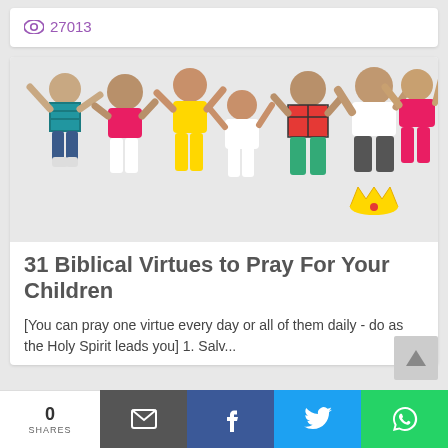27013
[Figure (photo): Six children jumping and celebrating against a white background, wearing colorful clothes]
31 Biblical Virtues to Pray For Your Children
[You can pray one virtue every day or all of them daily - do as the Holy Spirit leads you] 1. Salv...
0
SHARES